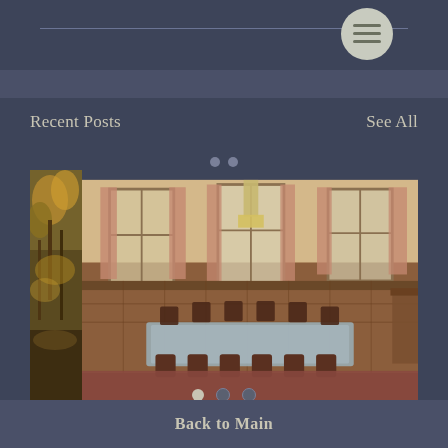Recent Posts
See All
[Figure (photo): A formal council chamber or boardroom with wood-paneled walls, tall arched windows with pink curtains, a long rectangular conference table surrounded by wooden chairs, and a hanging light fixture. Autumn forest photo visible on left edge.]
Ecumenical Consensus, Conciliarism, and Radical...
Back to Main